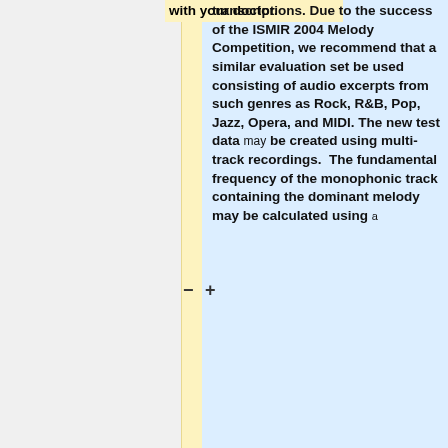with your doctor.
transcriptions. Due to the success of the ISMIR 2004 Melody Competition, we recommend that a similar evaluation set be used consisting of audio excerpts from such genres as Rock, R&B, Pop, Jazz, Opera, and MIDI. The new test data may be created using multi-track recordings.  The fundamental frequency of the monophonic track containing the dominant melody may be calculated using a